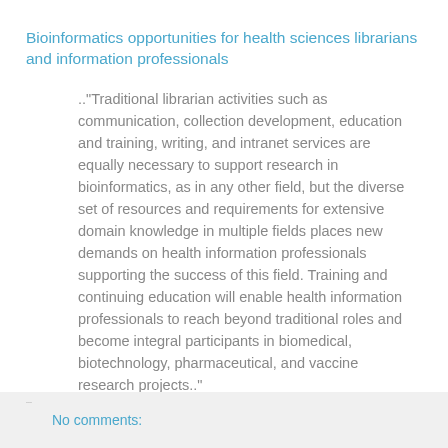Bioinformatics opportunities for health sciences librarians and information professionals
.."Traditional librarian activities such as communication, collection development, education and training, writing, and intranet services are equally necessary to support research in bioinformatics, as in any other field, but the diverse set of resources and requirements for extensive domain knowledge in multiple fields places new demands on health information professionals supporting the success of this field. Training and continuing education will enable health information professionals to reach beyond traditional roles and become integral participants in biomedical, biotechnology, pharmaceutical, and vaccine research projects.."
No comments: